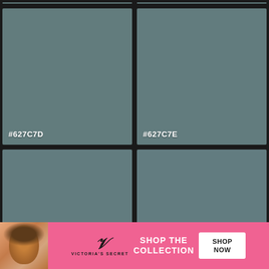[Figure (other): Color swatch grid showing hex colors #627C7D, #627C7E, #627C7F, and #627C80 as large colored rectangles in a 2x2 grid layout on dark background, with a Victoria's Secret advertisement banner overlaid at the bottom]
#627C7D
#627C7E
#627C7F
CLOSE
[Figure (infographic): Victoria's Secret pink advertisement banner: woman with curly hair, VS logo, text 'SHOP THE COLLECTION', white button 'SHOP NOW']